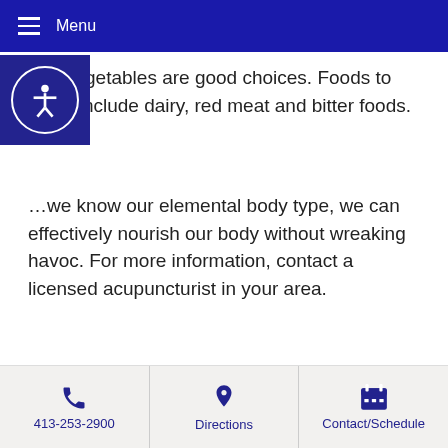Menu
and vegetables are good choices. Foods to avoid include dairy, red meat and bitter foods.
we know our elemental body type, we can effectively nourish our body without wreaking havoc. For more information, contact a licensed acupuncturist in your area.
This article was posted in Diet and tagged five elements, tcm. Bookmark the permalink. Follow comments with the RSS feed for this post. Both comments and trackbacks are closed.
Healthy Eating According to Traditional Chinese Medicine »
« How to Beat the Summer Heat
413-253-2900  Directions  Contact/Schedule